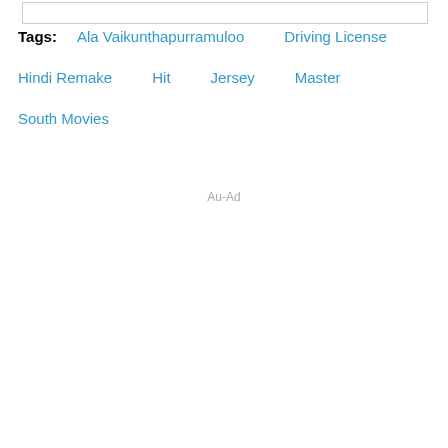Tags:  Ala Vaikunthapurramuloo  Driving License  Hindi Remake  Hit  Jersey  Master  South Movies
Au-Ad